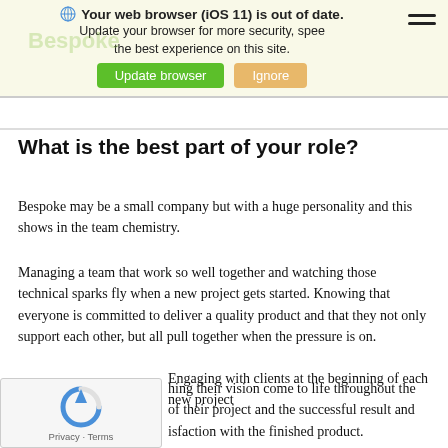Your web browser (iOS 11) is out of date. Update your browser for more security, speed and the best experience on this site. [Update browser] [Ignore]
What is the best part of your role?
Bespoke may be a small company but with a huge personality and this shows in the team chemistry.
Managing a team that work so well together and watching those technical sparks fly when a new project gets started. Knowing that everyone is committed to deliver a quality product and that they not only support each other, but all pull together when the pressure is on.
Engaging with clients at the beginning of each new project and watching their vision come to life throughout the duration of their project and the successful result and client satisfaction with the finished product.